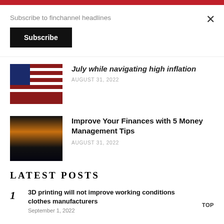Subscribe to finchannel headlines
Subscribe
July while navigating high inflation
AUGUST 31, 2022
[Figure (photo): People carrying American flags outdoors]
Improve Your Finances with 5 Money Management Tips
AUGUST 31, 2022
[Figure (photo): City skyline with tall buildings at night reflected in water]
LATEST POSTS
3D printing will not improve working conditions for clothes manufacturers
September 1, 2022